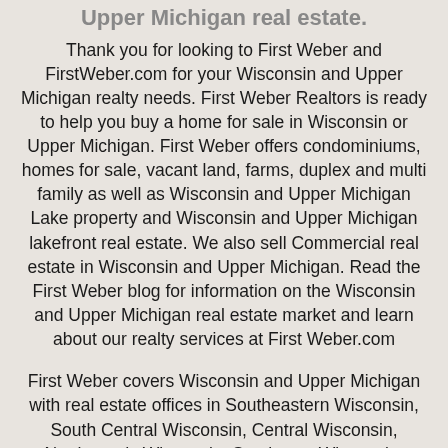comprehensive source for Wisconsin and Upper Michigan real estate.
Thank you for looking to First Weber and FirstWeber.com for your Wisconsin and Upper Michigan realty needs. First Weber Realtors is ready to help you buy a home for sale in Wisconsin or Upper Michigan. First Weber offers condominiums, homes for sale, vacant land, farms, duplex and multi family as well as Wisconsin and Upper Michigan Lake property and Wisconsin and Upper Michigan lakefront real estate. We also sell Commercial real estate in Wisconsin and Upper Michigan. Read the First Weber blog for information on the Wisconsin and Upper Michigan real estate market and learn about our realty services at First Weber.com
First Weber covers Wisconsin and Upper Michigan with real estate offices in Southeastern Wisconsin, South Central Wisconsin, Central Wisconsin, Northwoods Wisconsin, Southwest Wisconsin, Northwest Wisconsin, Northeast Wisconsin, and the Upper Peninsula of Michigan. Main cities offering Metro Milwaukee real estate